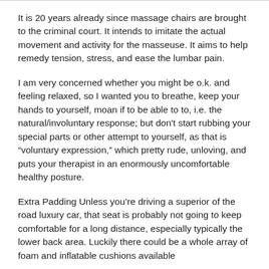It is 20 years already since massage chairs are brought to the criminal court. It intends to imitate the actual movement and activity for the masseuse. It aims to help remedy tension, stress, and ease the lumbar pain.
I am very concerned whether you might be o.k. and feeling relaxed, so I wanted you to breathe, keep your hands to yourself, moan if to be able to to, i.e. the natural/involuntary response; but don't start rubbing your special parts or other attempt to yourself, as that is "voluntary expression," which pretty rude, unloving, and puts your therapist in an enormously uncomfortable healthy posture.
Extra Padding Unless you're driving a superior of the road luxury car, that seat is probably not going to keep comfortable for a long distance, especially typically the lower back area. Luckily there could be a whole array of foam and inflatable cushions available